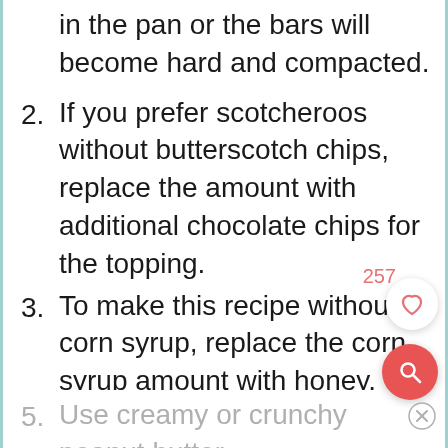in the pan or the bars will become hard and compacted.
2. If you prefer scotcheroos without butterscotch chips, replace the amount with additional chocolate chips for the topping.
3. To make this recipe without corn syrup, replace the corn syrup amount with honey. Since honey is sweeter, cut the sugar in half.
4. Semi-sweet or milk chocolate chips may be used for the topping.
5. Use creamy or crunchy peanut butter, but avoid natural peanut butter for